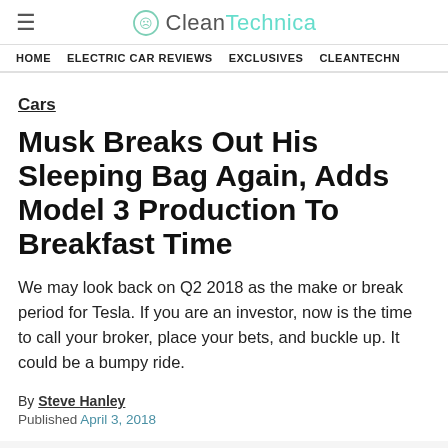CleanTechnica
HOME  ELECTRIC CAR REVIEWS  EXCLUSIVES  CLEANTECHN
Cars
Musk Breaks Out His Sleeping Bag Again, Adds Model 3 Production To Breakfast Time
We may look back on Q2 2018 as the make or break period for Tesla. If you are an investor, now is the time to call your broker, place your bets, and buckle up. It could be a bumpy ride.
By Steve Hanley
Published April 3, 2018